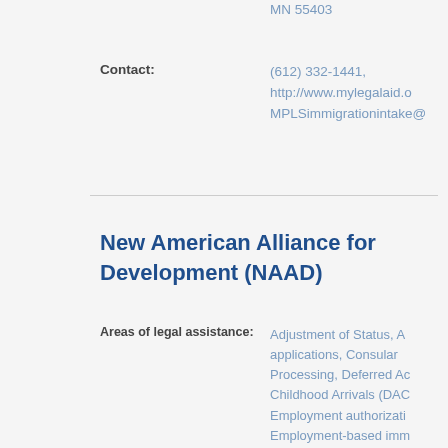MN 55403
Contact: (612) 332-1441, http://www.mylegalaid.o MPLSimmigrationintake@
New American Alliance for Development (NAAD)
Areas of legal assistance: Adjustment of Status, A applications, Consular Processing, Deferred Ac Childhood Arrivals (DAC Employment authorizati Employment-based imm and non-immigrant petiti